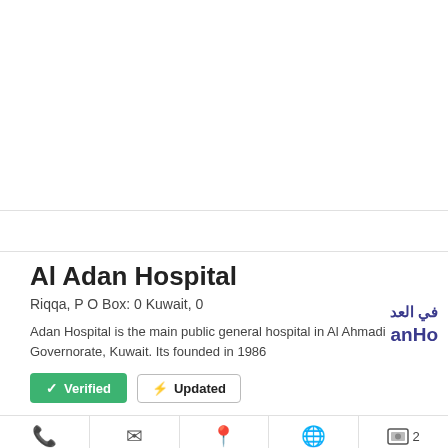Al Adan Hospital
Riqqa, P O Box: 0 Kuwait, 0
Adan Hospital is the main public general hospital in Al Ahmadi Governorate, Kuwait. Its founded in 1986
Verified  Updated
[Figure (logo): Arabic/English logo with text in dark blue reading anHo / في العد]
Phone  E-mail  Map  Website  2 Photos